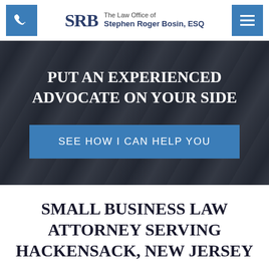The Law Office of Stephen Roger Bosin, ESQ
PUT AN EXPERIENCED ADVOCATE ON YOUR SIDE
SEE HOW I CAN HELP YOU
SMALL BUSINESS LAW ATTORNEY SERVING HACKENSACK, NEW JERSEY